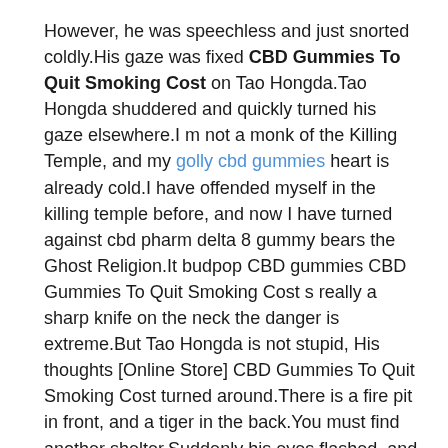However, he was speechless and just snorted coldly.His gaze was fixed CBD Gummies To Quit Smoking Cost on Tao Hongda.Tao Hongda shuddered and quickly turned his gaze elsewhere.I m not a monk of the Killing Temple, and my golly cbd gummies heart is already cold.I have offended myself in the killing temple before, and now I have turned against cbd pharm delta 8 gummy bears the Ghost Religion.It budpop CBD gummies CBD Gummies To Quit Smoking Cost s really a sharp knife on the neck the danger is extreme.But Tao Hongda is not stupid, His thoughts [Online Store] CBD Gummies To Quit Smoking Cost turned around.There is a fire pit in front, and a tiger in the back.You must find another shelter.Suddenly his eyes flashed, and he knelt on the ground with a pop.Hou Xiaoyi, who was facing the Xuanjing Division, just kowtowed.Every time there is a bang bang sound.Sir, save white label cbd gummies me, Lord save me Hou Xiaoyi fought with his eyelids up and tommy chong cbd gummies down, so sleepy he couldn t open his eyes.He yawned and rubbed his eyes, as if he was a little dumb Joke Please, don t you want to be far away Didn t you have been rescued just now When Tao Hongda heard the